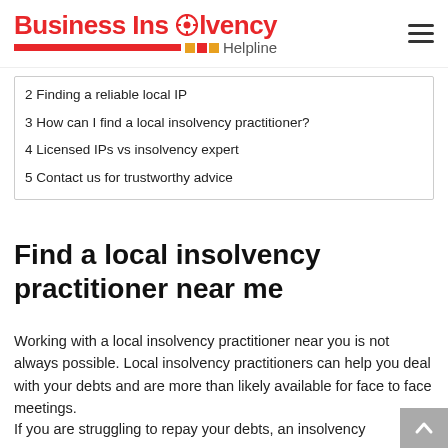Business Insolvency Helpline
2 Finding a reliable local IP
3 How can I find a local insolvency practitioner?
4 Licensed IPs vs insolvency expert
5 Contact us for trustworthy advice
Find a local insolvency practitioner near me
Working with a local insolvency practitioner near you is not always possible. Local insolvency practitioners can help you deal with your debts and are more than likely available for face to face meetings.
If you are struggling to repay your debts, an insolvency